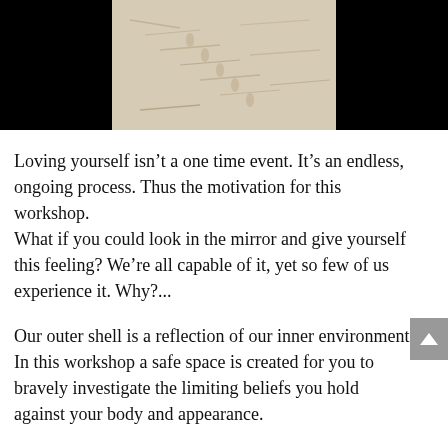[Figure (photo): Top image strip showing a sandy/beach texture with footprints in the center, flanked by black rectangular panels on the left and right sides.]
Loving yourself isn't a one time event. It's an endless, ongoing process. Thus the motivation for this workshop.
What if you could look in the mirror and give yourself this feeling? We're all capable of it, yet so few of us experience it. Why?...
Our outer shell is a reflection of our inner environment.
In this workshop a safe space is created for you to bravely investigate the limiting beliefs you hold against your body and appearance.